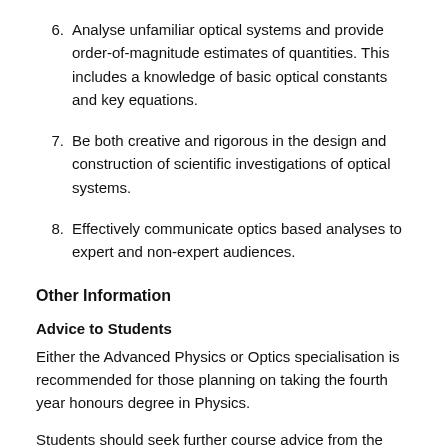6. Analyse unfamiliar optical systems and provide order-of-magnitude estimates of quantities. This includes a knowledge of basic optical constants and key equations.
7. Be both creative and rigorous in the design and construction of scientific investigations of optical systems.
8. Effectively communicate optics based analyses to expert and non-expert audiences.
Other Information
Advice to Students
Either the Advanced Physics or Optics specialisation is recommended for those planning on taking the fourth year honours degree in Physics.
Students should seek further course advice from the